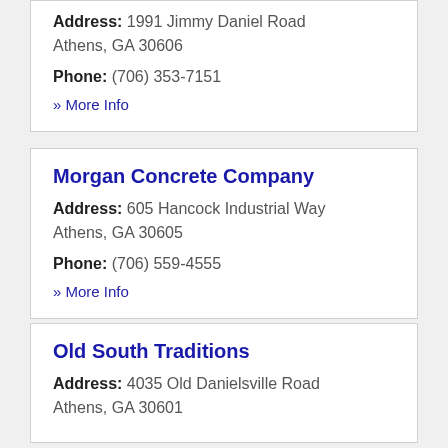Address: 1991 Jimmy Daniel Road Athens, GA 30606
Phone: (706) 353-7151
» More Info
Morgan Concrete Company
Address: 605 Hancock Industrial Way Athens, GA 30605
Phone: (706) 559-4555
» More Info
Old South Traditions
Address: 4035 Old Danielsville Road Athens, GA 30601